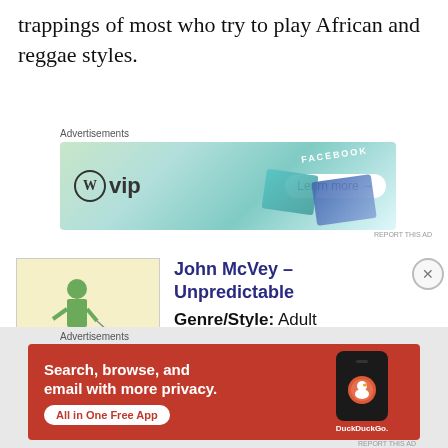trappings of most who try to play African and reggae styles.
[Figure (screenshot): WordPress VIP advertisement banner with social media brand cards and Learn more button]
[Figure (photo): Album art for John McVey - Unpredictable, showing illustrated figure walking with kite]
John McVey – Unpredictable
Genre/Style: Adult Contemporary, singer-songwriter
[Figure (screenshot): DuckDuckGo advertisement: Search, browse, and email with more privacy. All in One Free App]